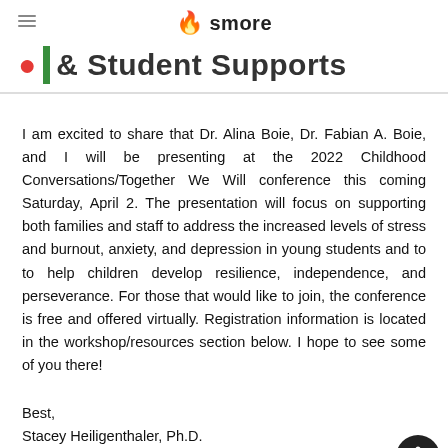smore
& Student Supports
I am excited to share that Dr. Alina Boie, Dr. Fabian A. Boie, and I will be presenting at the 2022 Childhood Conversations/Together We Will conference this coming Saturday, April 2. The presentation will focus on supporting both families and staff to address the increased levels of stress and burnout, anxiety, and depression in young students and to to help children develop resilience, independence, and perseverance. For those that would like to join, the conference is free and offered virtually. Registration information is located in the workshop/resources section below. I hope to see some of you there!
Best,
Stacey Heiligenthaler, Ph.D.
Interim Chief Officer of Special Education and Student